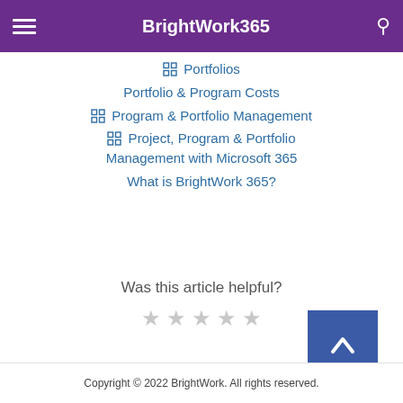BrightWork365
Portfolios
Portfolio & Program Costs
Program & Portfolio Management
Project, Program & Portfolio Management with Microsoft 365
What is BrightWork 365?
Was this article helpful?
Copyright © 2022 BrightWork. All rights reserved.